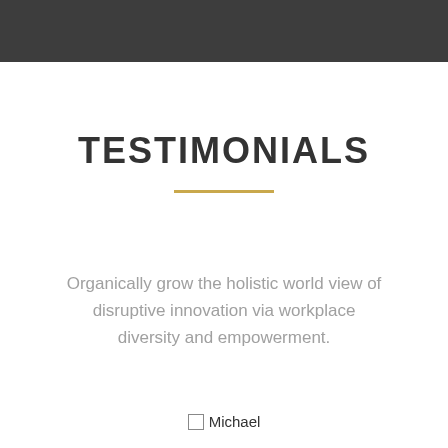TESTIMONIALS
Organically grow the holistic world view of disruptive innovation via workplace diversity and empowerment.
Michael